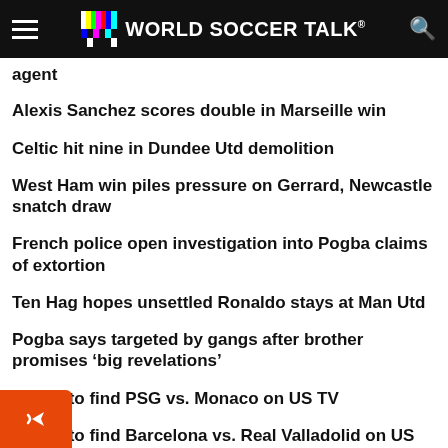WORLD SOCCER TALK
agent
Alexis Sanchez scores double in Marseille win
Celtic hit nine in Dundee Utd demolition
West Ham win piles pressure on Gerrard, Newcastle snatch draw
French police open investigation into Pogba claims of extortion
Ten Hag hopes unsettled Ronaldo stays at Man Utd
Pogba says targeted by gangs after brother promises ‘big revelations’
Where to find PSG vs. Monaco on US TV
Where to find Barcelona vs. Real Valladolid on US TV
SOCCER TV SCHEDULES APP